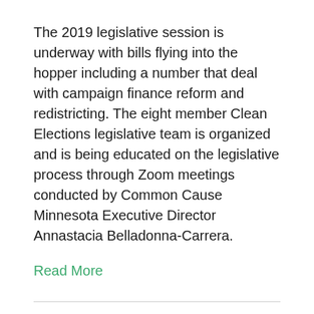The 2019 legislative session is underway with bills flying into the hopper including a number that deal with campaign finance reform and redistricting. The eight member Clean Elections legislative team is organized and is being educated on the legislative process through Zoom meetings conducted by Common Cause Minnesota Executive Director Annastacia Belladonna-Carrera.
Read More
2018 Tax Day Rally Talk